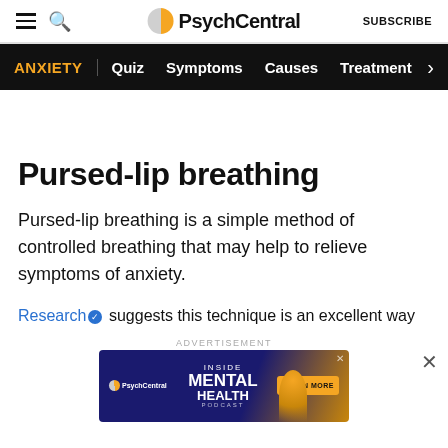PsychCentral — SUBSCRIBE
ANXIETY | Quiz  Symptoms  Causes  Treatment >
Pursed-lip breathing
Pursed-lip breathing is a simple method of controlled breathing that may help to relieve symptoms of anxiety.
Research suggests this technique is an excellent way
[Figure (screenshot): PsychCentral advertisement banner: Inside Mental Health Podcast with Learn More button on dark blue and yellow background]